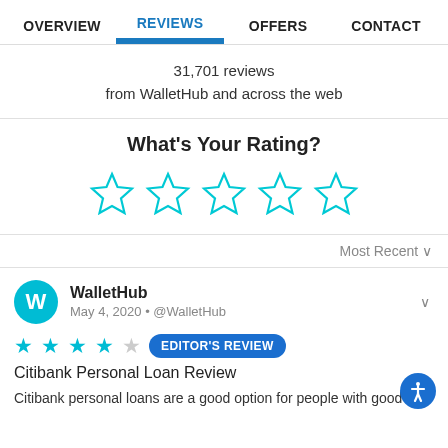OVERVIEW | REVIEWS | OFFERS | CONTACT
31,701 reviews
from WalletHub and across the web
What's Your Rating?
[Figure (other): Five empty star outlines for user rating input]
Most Recent ∨
WalletHub
May 4, 2020 • @WalletHub
★★★★☆ EDITOR'S REVIEW
Citibank Personal Loan Review
Citibank personal loans are a good option for people with good